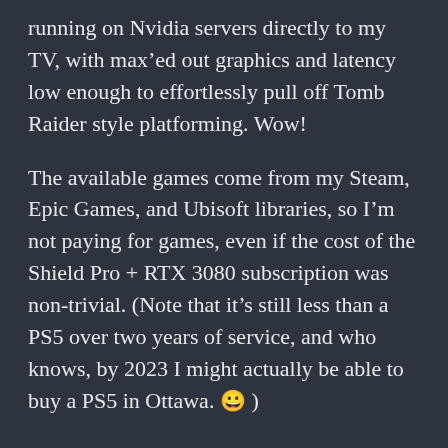running on Nvidia servers directly to my TV, with max'ed out graphics and latency low enough to effortlessly pull off Tomb Raider style platforming. Wow!
The available games come from my Steam, Epic Games, and Ubisoft libraries, so I'm not paying for games, even if the cost of the Shield Pro + RTX 3080 subscription was non-trivial. (Note that it's still less than a PS5 over two years of service, and who knows, by 2023 I might actually be able to buy a PS5 in Ottawa. 😀 )
Some caveats...
My internet service is shared cable running